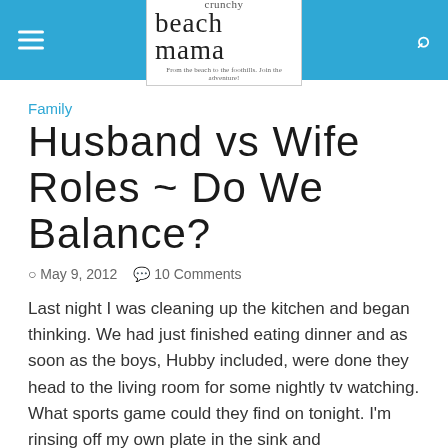[Figure (logo): Crunchy Beach Mama blog logo with mountain graphic and tagline 'From the beach to the foothills. Join the adventure!']
Family
Husband vs Wife Roles ~ Do We Balance?
May 9, 2012   10 Comments
Last night I was cleaning up the kitchen and began thinking. We had just finished eating dinner and as soon as the boys, Hubby included, were done they head to the living room for some nightly tv watching. What sports game could they find on tonight. I'm rinsing off my own plate in the sink and